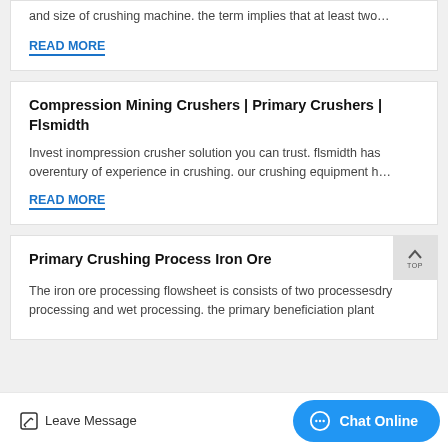and size of crushing machine. the term implies that at least two…
READ MORE
Compression Mining Crushers | Primary Crushers | Flsmidth
Invest inompression crusher solution you can trust. flsmidth has overentury of experience in crushing. our crushing equipment h…
READ MORE
Primary Crushing Process Iron Ore
The iron ore processing flowsheet is consists of two processesdry processing and wet processing. the primary beneficiation plant…
Leave Message
Chat Online